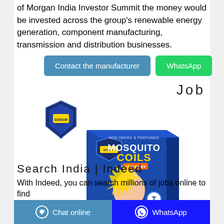of Morgan India Investor Summit the money would be invested across the group's renewable energy generation, component manufacturing, transmission and distribution businesses.
[Figure (other): Blue 'Contact the manufacturer' button and green 'WhatsApp' button]
Job
[Figure (logo): Shield-shaped brand logo with text]
[Figure (photo): Product box: NON SMOKE & PERFUMED MOSQUITO COILS FOR BABY - blue box with baby image and brand shield logo]
Search India | Indeed
With Indeed, you can search millions of jobs online to find
[Figure (other): Bottom bar with 'Chat online' button (blue) and 'WhatsApp' button (dark blue)]